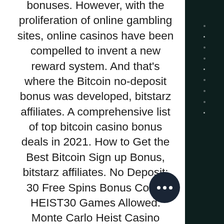bonuses. However, with the proliferation of online gambling sites, online casinos have been compelled to invent a new reward system. And that's where the Bitcoin no-deposit bonus was developed, bitstarz affiliates. A comprehensive list of top bitcoin casino bonus deals in 2021. How to Get the Best Bitcoin Sign up Bonus, bitstarz affiliates. No Deposit: 30 Free Spins Bonus Code: HEIST30 Games Allowed: Monte Carlo Heist Casino Amount: 30 Free Spins Bonus Code: HONEY30 Casino Games: Show Me The Honey Amount: 30 Free Spins Bonus Code: TOG30 Games Accepted: Throne of Gold Free Bonus: 25 Free Spins Bonus Code: BITVIKING Casino Games: Vikingdom No Deposit: 55 Free Spins Bonus Code: BITMARS Games Accepted: Spartians Casino Amount: 50 Free Spins Bonus Code: BITFROOT Casino Games: Froot Bonus Offer: 50 Free Spins Bonus Code: SHELL50 Casino Games: Shells 'n